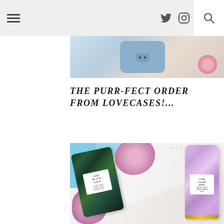Navigation header with hamburger menu, Twitter icon, Instagram icon, and search icon
[Figure (photo): Partial photo of a blue cat phone case and pink flower, cropped at top]
THE PURR-FECT ORDER FROM LOVECASES!...
[Figure (photo): Flat lay photo of two Céla beauty products — 'Black Gold' with dark marble packaging and 'Calme Rose' with pink marble packaging — on a marble surface with pink flowers and pearls]